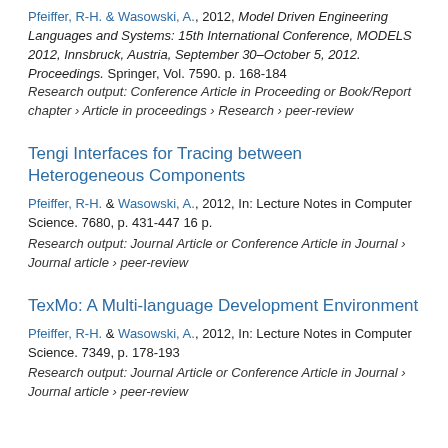Pfeiffer, R-H. & Wasowski, A., 2012, Model Driven Engineering Languages and Systems: 15th International Conference, MODELS 2012, Innsbruck, Austria, September 30–October 5, 2012. Proceedings. Springer, Vol. 7590. p. 168-184
Research output: Conference Article in Proceeding or Book/Report chapter › Article in proceedings › Research › peer-review
Tengi Interfaces for Tracing between Heterogeneous Components
Pfeiffer, R-H. & Wasowski, A., 2012, In: Lecture Notes in Computer Science. 7680, p. 431-447 16 p.
Research output: Journal Article or Conference Article in Journal › Journal article › peer-review
TexMo: A Multi-language Development Environment
Pfeiffer, R-H. & Wasowski, A., 2012, In: Lecture Notes in Computer Science. 7349, p. 178-193
Research output: Journal Article or Conference Article in Journal › Journal article › peer-review